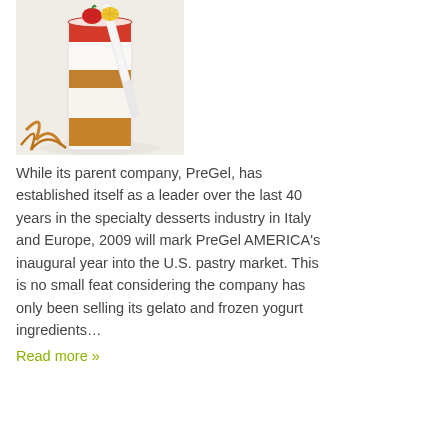[Figure (photo): A layered dessert in a glass cylinder with strawberry, cream, caramel layers, topped with a strawberry and lemon garnish, served on a white plate with caramel drizzle.]
While its parent company, PreGel, has established itself as a leader over the last 40 years in the specialty desserts industry in Italy and Europe, 2009 will mark PreGel AMERICA's inaugural year into the U.S. pastry market. This is no small feat considering the company has only been selling its gelato and frozen yogurt ingredients…
Read more »